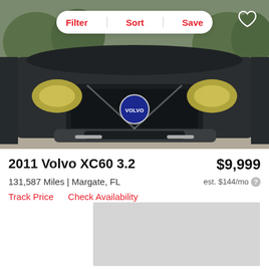[Figure (photo): Front view of a dark blue/black 2011 Volvo XC60 3.2 SUV with filter/sort/save bar overlay at top and heart icon in top right corner]
2011 Volvo XC60 3.2
$9,999
131,587 Miles | Margate, FL
est. $144/mo
Track Price    Check Availability
[Figure (other): Gray advertisement placeholder rectangle]